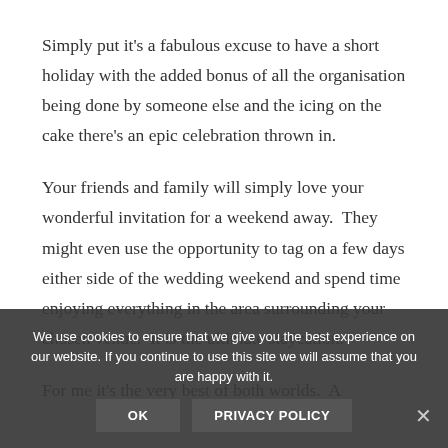Simply put it's a fabulous excuse to have a short holiday with the added bonus of all the organisation being done by someone else and the icing on the cake there's an epic celebration thrown in.
Your friends and family will simply love your wonderful invitation for a weekend away.  They might even use the opportunity to tag on a few days either side of the wedding weekend and spend time enjoying everything in the area surrounding your chosen venue.  It is the ultimate staycation.
For me it's the very best of both worlds.  A
We use cookies to ensure that we give you the best experience on our website. If you continue to use this site we will assume that you are happy with it.